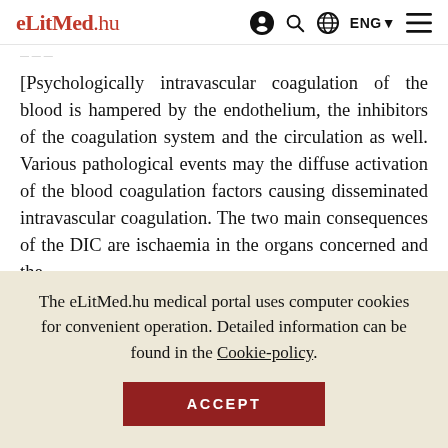eLitMed.hu — ENG navigation header
— — —
[Psychologically intravascular coagulation of the blood is hampered by the endothelium, the inhibitors of the coagulation system and the circulation as well. Various pathological events may the diffuse activation of the blood coagulation factors causing disseminated intravascular coagulation. The two main consequences of the DIC are ischaemia in the organs concerned and the
The eLitMed.hu medical portal uses computer cookies for convenient operation. Detailed information can be found in the Cookie-policy.
ACCEPT